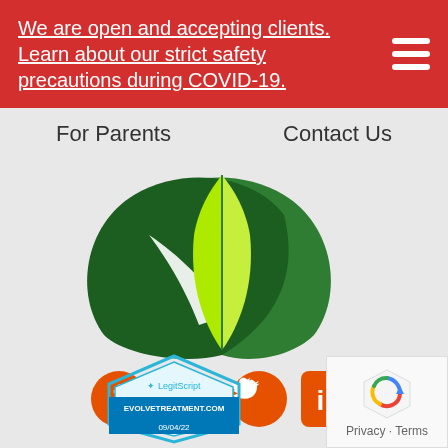We are open and accepting clients. Learn about our strict safety precautions during COVID-19.
For Parents
Contact Us
[Figure (logo): Evolve Treatment green leaf logo with yellow-green inner leaves and dark green outer leaves forming a plant/checkmark shape]
[Figure (illustration): Social media icons: Facebook, Instagram, Twitter, LinkedIn - all in orange color]
[Figure (logo): LegitScript badge showing EVOLVETREATMENT.COM 09/04/22]
[Figure (other): reCAPTCHA widget showing Privacy - Terms]